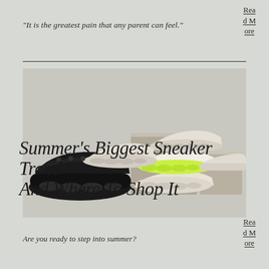"It is the greatest pain that any parent can feel."
Read More
[Figure (photo): Multiple chunky sneakers in black, white, and neon green/yellow colorways stacked and arranged on a neutral pedestal against a light grey background]
Summer's Biggest Sneaker Trend And Where To Shop It
Read More
Are you ready to step into summer?